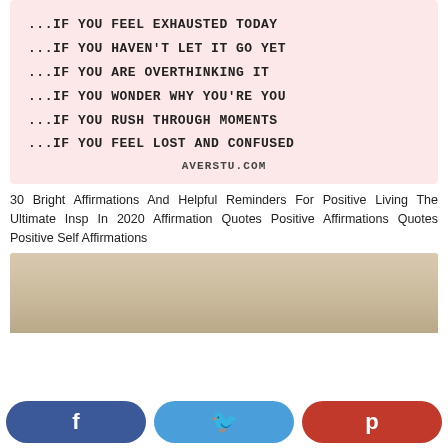...IF YOU FEEL EXHAUSTED TODAY
...IF YOU HAVEN'T LET IT GO YET
...IF YOU ARE OVERTHINKING IT
...IF YOU WONDER WHY YOU'RE YOU
...IF YOU RUSH THROUGH MOMENTS
...IF YOU FEEL LOST AND CONFUSED
AVERSTU.COM
30 Bright Affirmations And Helpful Reminders For Positive Living The Ultimate Insp In 2020 Affirmation Quotes Positive Affirmations Quotes Positive Self Affirmations
[Figure (photo): Partial view of a beige/cream colored surface or wall, cropped at bottom of page]
[Figure (infographic): Social share buttons: Facebook (dark blue), Twitter (light blue), Pinterest (red)]